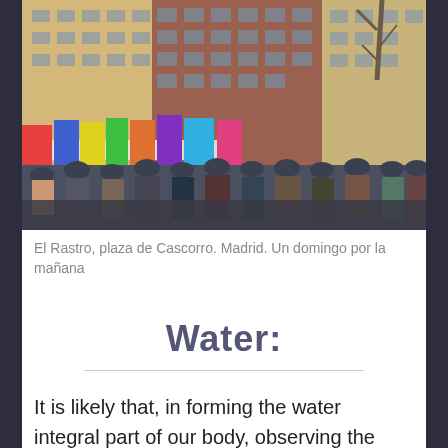[Figure (photo): A crowded outdoor market scene at El Rastro, plaza de Cascorro, Madrid. Colorful clothing stalls with shirts and garments hanging in the foreground, a large crowd of people, and multi-story residential buildings in the background on a sunny day.]
El Rastro, plaza de Cascorro. Madrid. Un domingo por la mañana
Water:
It is likely that, in forming the water integral part of our body, observing the